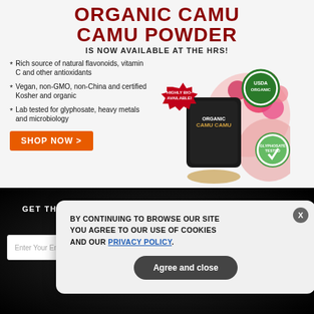[Figure (infographic): Advertisement for Organic Camu Camu Powder available at the HRS. Shows product bag surrounded by berries and flowers, with red starburst badge 'HIGHLY BIO-AVAILABLE!', USDA Organic seal, and Glyphosate Tested seal. Bullet points list product features. Orange 'SHOP NOW >' button.]
GET THE WORLD'S BEST NATURAL HEALTH NEWSLETTER DELIVERED STRAIGHT TO YOUR INBOX
Enter Your Email Address
SUBSCRIBE
BY CONTINUING TO BROWSE OUR SITE YOU AGREE TO OUR USE OF COOKIES AND OUR PRIVACY POLICY.
Agree and close